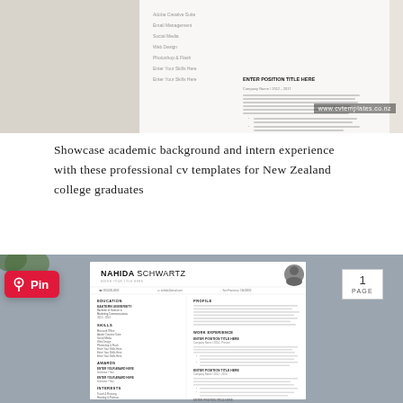[Figure (screenshot): Screenshot of a CV template preview showing a professional resume layout with watermark www.cvtemplates.co.nz. The CV contains sections for skills, email management, social media, web design, photoshop & flash, and work experience entries with placeholder lorem ipsum text.]
Showcase academic background and intern experience with these professional cv templates for New Zealand college graduates
[Figure (screenshot): Screenshot of a professional CV template for 'NAHIDA SCHWARTZ' displayed on a gray/blue background. The template shows a 1 PAGE badge, a Pinterest Pin button overlay, and the full resume with sections: Education (Eastern University, Bachelor of Science in Marketing Communications 2010-2014), Skills, Awards, Interests on the left column; and Profile, Work Experience (three ENTER POSITION TITLE HERE entries) with placeholder text on the right column.]